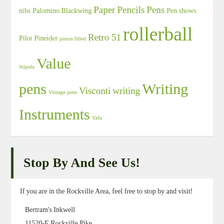nibs Palomino Blackwing Paper Pencils Pens Pen shows Pilot Pineider piston filled Retro 51 rollerball Stipula Value pens Vintage pens Visconti writing Writing Instruments Yafa
Stop By And See Us!
If you are in the Rockville Area, feel free to stop by and visit!
Bertram's Inkwell
11520-E Rockville Pike
Rockville, MD 20852